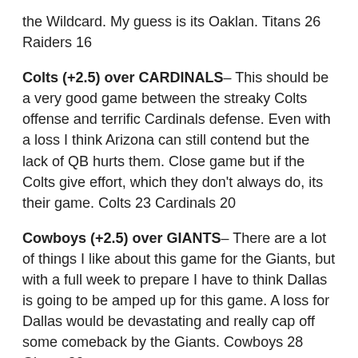the Wildcard. My guess is its Oaklan. Titans 26 Raiders 16
Colts (+2.5) over CARDINALS– This should be a very good game between the streaky Colts offense and terrific Cardinals defense. Even with a loss I think Arizona can still contend but the lack of QB hurts them. Close game but if the Colts give effort, which they don't always do, its their game. Colts 23 Cardinals 20
Cowboys (+2.5) over GIANTS– There are a lot of things I like about this game for the Giants, but with a full week to prepare I have to think Dallas is going to be amped up for this game. A loss for Dallas would be devastating and really cap off some comeback by the Giants. Cowboys 28 Giants 20
Broncos (-2.5) over PATRIOTS– Its always fun to see Manning and Brady match up and throw in the Wes Welker subplot and this has the makings of a very dramatic and highly rated game. Broncos probably have too much